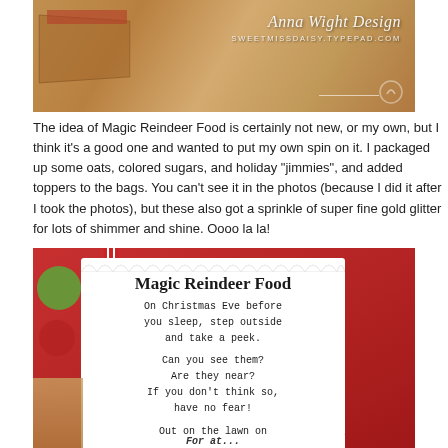[Figure (photo): Photo of packaged Magic Reindeer Food with Anna Wight Design watermark and SweetMissDaisy.Typepad.com URL]
The idea of Magic Reindeer Food is certainly not new, or my own, but I think it's a good one and wanted to put my own spin on it. I packaged up some oats, colored sugars, and holiday "jimmies", and added toppers to the bags. You can't see it in the photos (because I did it after I took the photos), but these also got a sprinkle of super fine gold glitter for lots of shimmer and shine. Oooo la la!
[Figure (photo): Photo of Magic Reindeer Food tag/label on red background showing poem: On Christmas Eve before you sleep, step outside and take a peek. Can you see them? Are they near? If you don't think so, have no fear! Out on the lawn on bended knee, sprinkle magic reindeer feed.]